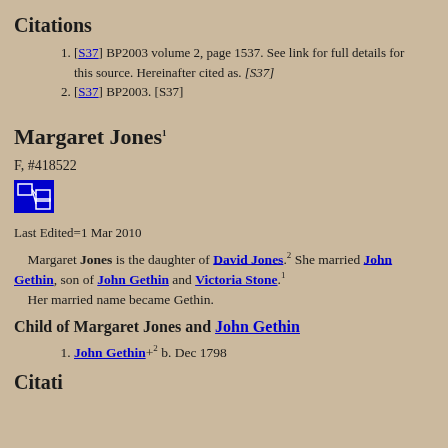Citations
[S37] BP2003 volume 2, page 1537. See link for full details for this source. Hereinafter cited as. [S37]
[S37] BP2003. [S37]
Margaret Jones1
F, #418522
Last Edited=1 Mar 2010
Margaret Jones is the daughter of David Jones.2 She married John Gethin, son of John Gethin and Victoria Stone.1 Her married name became Gethin.
Child of Margaret Jones and John Gethin
John Gethin+2 b. Dec 1798
Citati...